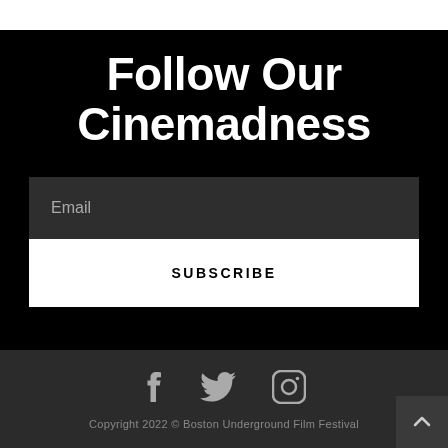Follow Our Cinemadness
Email
SUBSCRIBE
[Figure (infographic): Social media icons: Facebook, Twitter, Instagram]
Copyright 2022 © Boston Underground Film Festival